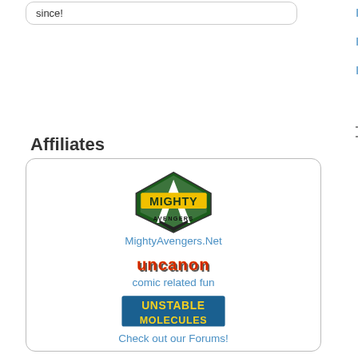since!
Affiliates
Inner Circle IV
Inner Circle VIII
Invaders
Inner Circle
Intelligencia
Inward Watch
[Figure (logo): Mighty Avengers logo - hexagonal green and white shape with yellow MIGHTY text and AVENGERS below]
MightyAvengers.Net
[Figure (logo): Uncanon logo - stylized red/orange graffiti text]
comic related fun
[Figure (logo): Unstable Molecules logo - blue banner with yellow text]
Check out our Forums!